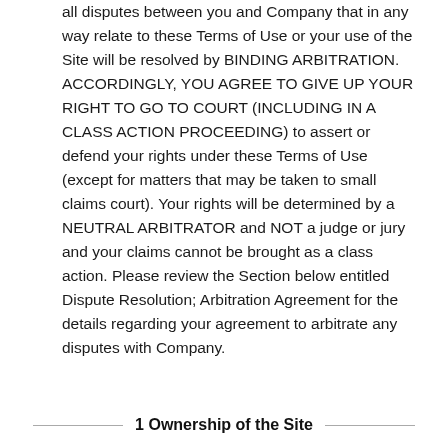all disputes between you and Company that in any way relate to these Terms of Use or your use of the Site will be resolved by BINDING ARBITRATION. ACCORDINGLY, YOU AGREE TO GIVE UP YOUR RIGHT TO GO TO COURT (INCLUDING IN A CLASS ACTION PROCEEDING) to assert or defend your rights under these Terms of Use (except for matters that may be taken to small claims court). Your rights will be determined by a NEUTRAL ARBITRATOR and NOT a judge or jury and your claims cannot be brought as a class action. Please review the Section below entitled Dispute Resolution; Arbitration Agreement for the details regarding your agreement to arbitrate any disputes with Company.
1 Ownership of the Site